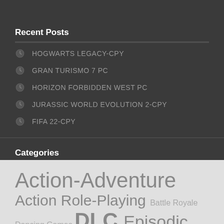Recent Posts
HOGWARTS LEGACY-CPY
GRAN TURISMO 7 PC
HORIZON FORBIDDEN WEST PC
JURASSIC WORLD EVOLUTION 2-CPY
FIFA 22-CPY
Categories
Action-Adventure Action Role-Playing Battle Royale Dancing Games DLC Episodic